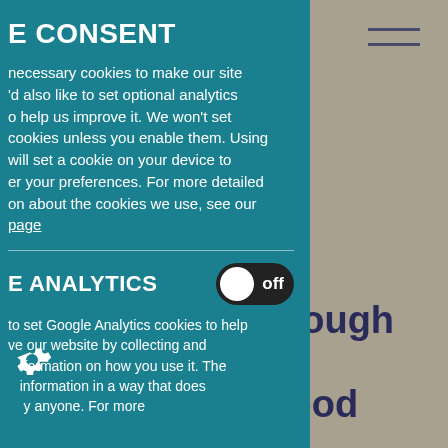[Figure (other): Hamburger menu icon (three horizontal lines) in top right corner on grey background]
E CONSENT
necessary cookies to make our site 'd also like to set optional analytics o help us improve it. We won't set cookies unless you enable them. Using will set a cookie on your device to er your preferences. For more detailed on about the cookies we use, see our page
E ANALYTICS
off
to set Google Analytics cookies to help ve our website by collecting and formation on how you use it. The information in a way that does y anyone. For more
borough ew r good